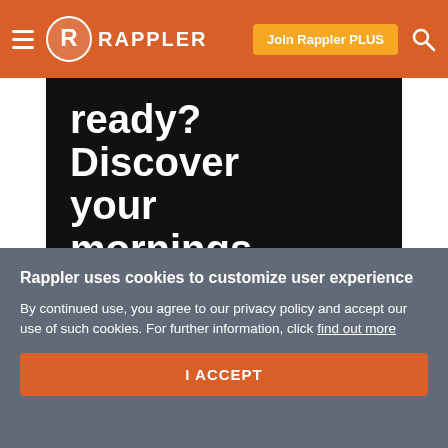Rappler
[Figure (screenshot): Rappler advertisement banner with black background, bold white text reading 'ready? Discover your mornings with us' and a white rounded button 'Visit the GRWM series page']
Rappler uses cookies to customize user experience
By continued use, you agree to our privacy policy and accept our use of such cookies. For further information, click find out more
I ACCEPT